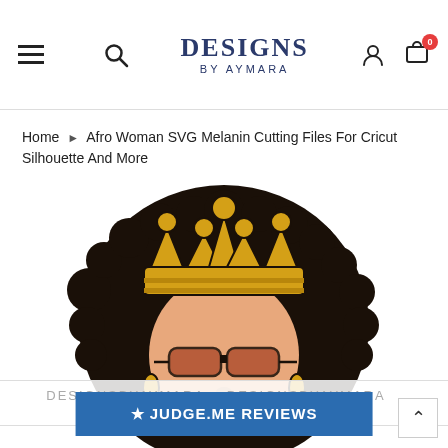Designs By Aymara — navigation header with hamburger menu, search, logo, user icon, and cart (0)
Home ▶ Afro Woman SVG Melanin Cutting Files For Cricut Silhouette And More
[Figure (illustration): Illustration of an Afro woman wearing a gold crown and sunglasses, with large natural hair, rendered as a black and gold SVG/cutting file design. Watermark text reads DESIGNSBYAYMARA repeated across the middle.]
★ JUDGE.ME REVIEWS